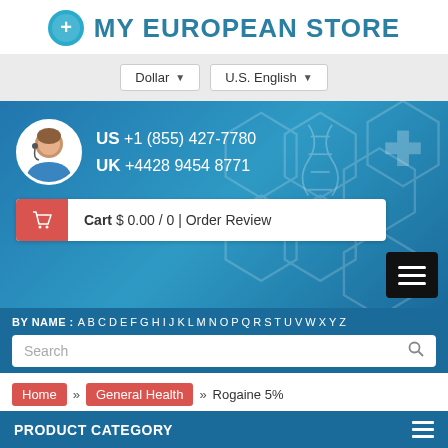MY EUROPEAN STORE
Dollar ▼   U.S. English ▼
US +1 (855) 427-7780
UK +4428 9454 8771
Cart $ 0.00 / 0 | Order Review
BY NAME : A B C D E F G H I J K L M N O P Q R S T U V W X Y Z
Search
Home » General Health » Rogaine 5%
PRODUCT CATEGORY